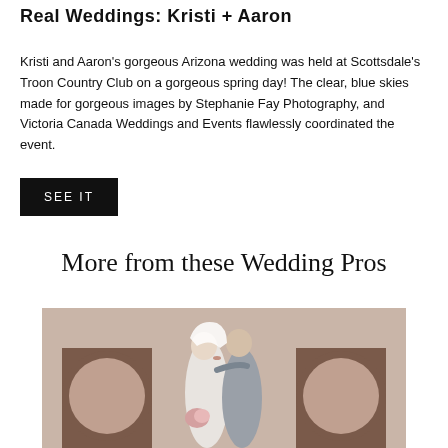Real Weddings: Kristi + Aaron
Kristi and Aaron's gorgeous Arizona wedding was held at Scottsdale's Troon Country Club on a gorgeous spring day! The clear, blue skies made for gorgeous images by Stephanie Fay Photography, and Victoria Canada Weddings and Events flawlessly coordinated the event.
SEE IT
More from these Wedding Pros
[Figure (photo): Wedding couple kissing in front of arched doorways, bride in white veil and groom in gray suit, desert adobe-style building background]